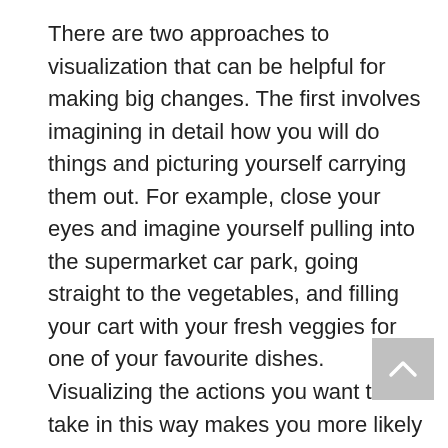There are two approaches to visualization that can be helpful for making big changes. The first involves imagining in detail how you will do things and picturing yourself carrying them out. For example, close your eyes and imagine yourself pulling into the supermarket car park, going straight to the vegetables, and filling your cart with your fresh veggies for one of your favourite dishes. Visualizing the actions you want to take in this way makes you more likely to actually follow through with them when the time comes and helps you prepare mentally for the new tasks. Imagine yourself using your app, putting on your running shoes, looking out for doggos on your run, prepping